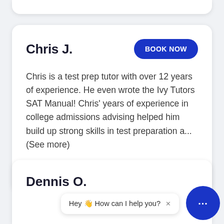Chris J.
Chris is a test prep tutor with over 12 years of experience. He even wrote the Ivy Tutors SAT Manual! Chris' years of experience in college admissions advising helped him build up strong skills in test preparation a... (See more)
ACT
SAT
Dennis O.